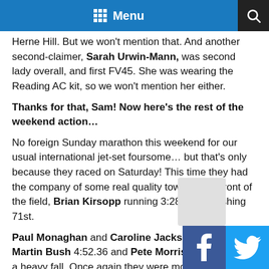Menu
Herne Hill. But we won't mention that. And another second-claimer, Sarah Urwin-Mann, was second lady overall, and first FV45. She was wearing the Reading AC kit, so we won't mention her either.
Thanks for that, Sam! Now here's the rest of the weekend action…
No foreign Sunday marathon this weekend for our usual international jet-set foursome… but that's only because they raced on Saturday! This time they had the company of some real quality towards the front of the field, Brian Kirsopp running 3:28.06 in finishing 71st.
Paul Monaghan and Caroline Jackson ran 4:38.31, Martin Bush 4:52.36 and Pete Morris 5:09.10, des… a heavy fall. Once again they were moaning about… having to run in baking hot temperatures, without t…